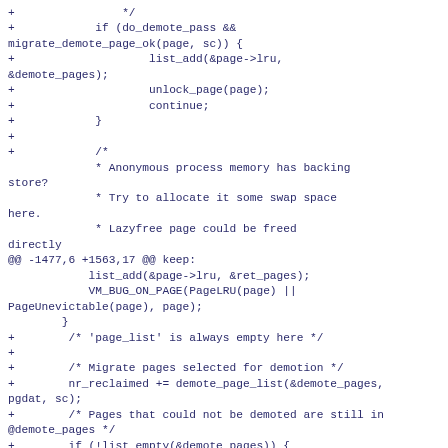+                */
+            if (do_demote_pass &&
migrate_demote_page_ok(page, sc)) {
+                    list_add(&page->lru,
&demote_pages);
+                    unlock_page(page);
+                    continue;
+            }
+
+            /*
             * Anonymous process memory has backing
store?
             * Try to allocate it some swap space
here.
             * Lazyfree page could be freed
directly
@@ -1477,6 +1563,17 @@ keep:
            list_add(&page->lru, &ret_pages);
            VM_BUG_ON_PAGE(PageLRU(page) ||
PageUnevictable(page), page);
        }
+        /* 'page_list' is always empty here */
+
+        /* Migrate pages selected for demotion */
+        nr_reclaimed += demote_page_list(&demote_pages,
pgdat, sc);
+        /* Pages that could not be demoted are still in
@demote_pages */
+        if (!list_empty(&demote_pages)) {
+            /* Pages which failed to demoted go